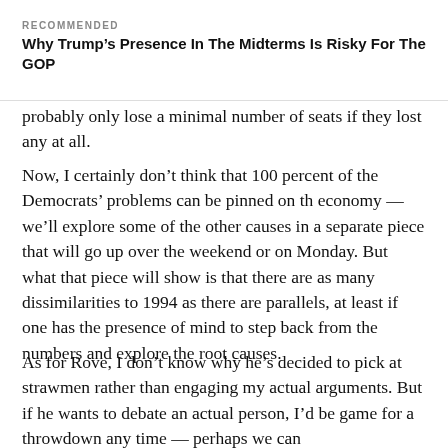RECOMMENDED
Why Trump's Presence In The Midterms Is Risky For The GOP
probably only lose a minimal number of seats if they lost any at all.
Now, I certainly don't think that 100 percent of the Democrats' problems can be pinned on th economy — we'll explore some of the other causes in a separate piece that will go up over the weekend or on Monday. But what that piece will show is that there are as many dissimilarities to 1994 as there are parallels, at least if one has the presence of mind to step back from the numbers and explore the root causes.
As for Rove, I don't know why he's decided to pick at strawmen rather than engaging my actual arguments. But if he wants to debate an actual person, I'd be game for a throwdown any time — perhaps we can